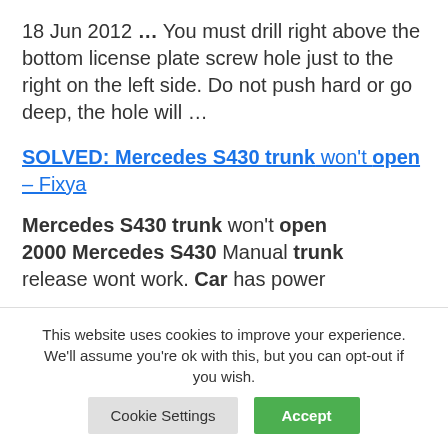18 Jun 2012 … You must drill right above the bottom license plate screw hole just to the right on the left side. Do not push hard or go deep, the hole will …
SOLVED: Mercedes S430 trunk won't open – Fixya
Mercedes S430 trunk won't open 2000 Mercedes S430 Manual trunk release wont work. Car has power
This website uses cookies to improve your experience. We'll assume you're ok with this, but you can opt-out if you wish. Cookie Settings Accept